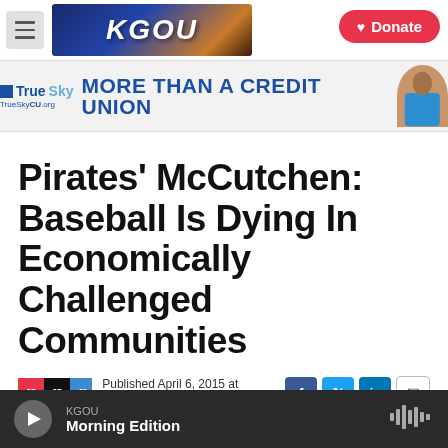KGOU — Donate
[Figure (screenshot): KGOU radio station website header with hamburger menu, KGOU logo, city background, and red Donate button]
[Figure (illustration): TrueSky Credit Union advertisement banner: MORE THAN A CREDIT UNION with animated figure]
Pirates' McCutchen: Baseball Is Dying In Economically Challenged Communities
Published April 6, 2015 at 3:58 AM CDT
[Figure (logo): NPR logo with red n, black p, blue r blocks]
KGOU Morning Edition